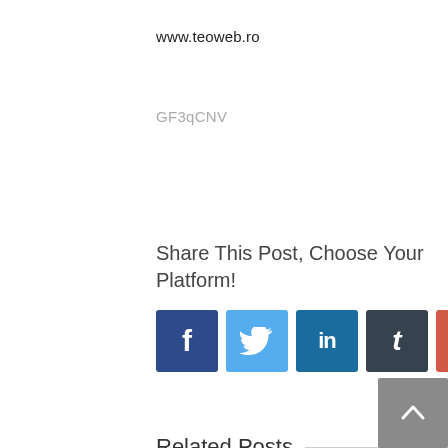www.teoweb.ro
GF3qCNV
Share This Post, Choose Your Platform!
[Figure (infographic): Social media share buttons: Facebook, Twitter, LinkedIn, Tumblr, Google+, Pinterest]
Related Posts
[Figure (photo): Two related post image placeholders (light gray boxes)]